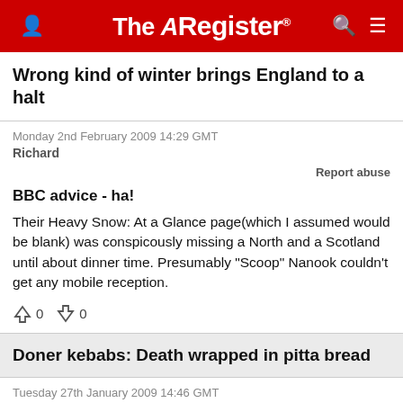The Register
Wrong kind of winter brings England to a halt
Monday 2nd February 2009 14:29 GMT
Richard
Report abuse
BBC advice - ha!
Their Heavy Snow: At a Glance page(which I assumed would be blank) was conspicously missing a North and a Scotland until about dinner time. Presumably "Scoop" Nanook couldn't get any mobile reception.
0  0
Doner kebabs: Death wrapped in pitta bread
Tuesday 27th January 2009 14:46 GMT
Richard